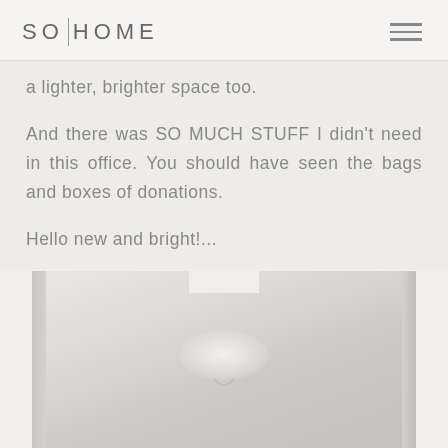SO|HOME
a lighter, brighter space too.
And there was SO MUCH STUFF I didn't need in this office. You should have seen the bags and boxes of donations.
Hello new and bright!...
[Figure (photo): Interior photo showing a bright white ceiling with a small recessed light fixture, shot from below at an angle]